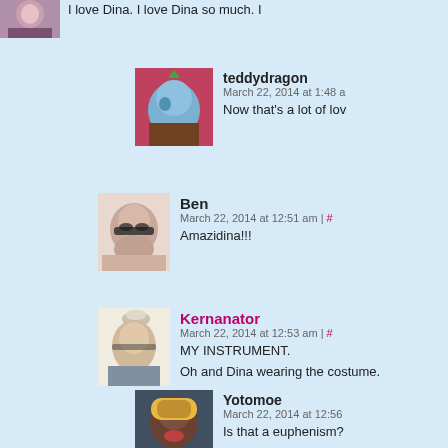I love Dina. I love Dina so much. I
teddydragon
March 22, 2014 at 1:48 a
Now that's a lot of lov
Ben
March 22, 2014 at 12:51 am | #
Amazidina!!!
Kernanator
March 22, 2014 at 12:53 am | #
MY INSTRUMENT.
Oh and Dina wearing the costume.
Yotomoe
March 22, 2014 at 12:56
Is that a euphenism?